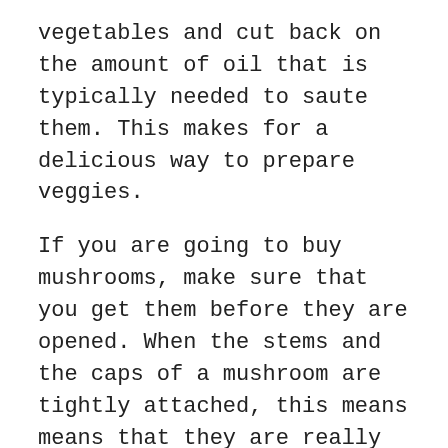vegetables and cut back on the amount of oil that is typically needed to saute them. This makes for a delicious way to prepare veggies.
If you are going to buy mushrooms, make sure that you get them before they are opened. When the stems and the caps of a mushroom are tightly attached, this means means that they are really fresh. If the cap is opened, chances are the mushroom is not too fresh.
When you are cooking any dessert that has strawberries in it, add a